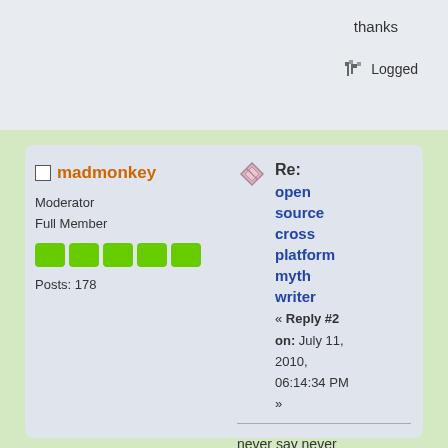thanks
Logged
madmonkey
Moderator
Full Member
Posts: 178
Re: open source cross platform myth writer « Reply #2 on: July 11, 2010, 06:14:34 PM »
never say never
[Figure (illustration): Penguin emoticon/avatar holding something]
I'm quite busy right now with real-life work, so I've been skipping on side